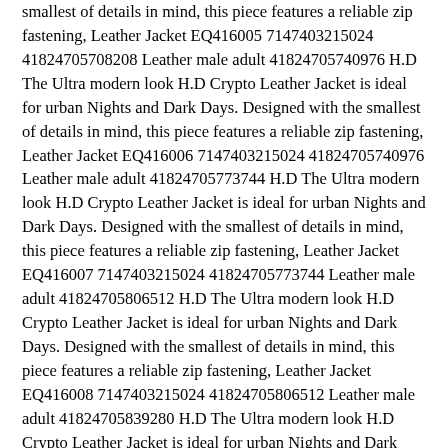smallest of details in mind, this piece features a reliable zip fastening, Leather Jacket EQ416005 7147403215024 41824705708208 Leather male adult 41824705740976 H.D The Ultra modern look H.D Crypto Leather Jacket is ideal for urban Nights and Dark Days. Designed with the smallest of details in mind, this piece features a reliable zip fastening, Leather Jacket EQ416006 7147403215024 41824705740976 Leather male adult 41824705773744 H.D The Ultra modern look H.D Crypto Leather Jacket is ideal for urban Nights and Dark Days. Designed with the smallest of details in mind, this piece features a reliable zip fastening, Leather Jacket EQ416007 7147403215024 41824705773744 Leather male adult 41824705806512 H.D The Ultra modern look H.D Crypto Leather Jacket is ideal for urban Nights and Dark Days. Designed with the smallest of details in mind, this piece features a reliable zip fastening, Leather Jacket EQ416008 7147403215024 41824705806512 Leather male adult 41824705839280 H.D The Ultra modern look H.D Crypto Leather Jacket is ideal for urban Nights and Dark Days. Designed with the smallest of details in mind, this piece features a reliable zip fastening, Leather Jacket EQ416009 7147403215024 41824705839280 Leather male adult 41824705872048 H.D The Ultra modern look H.D Crypto Leather Jacket is ideal for urban Nights and Dark Days. Designed with the smallest of details in mind, this piece features a reliable zip fastening, Leather Jacket EQ416010 7147403215024 41824705872048 Leather male adult